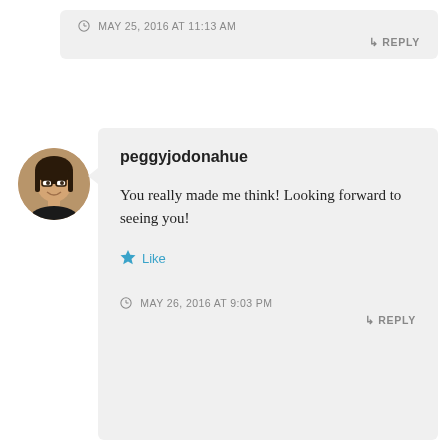MAY 25, 2016 AT 11:13 AM
REPLY
[Figure (photo): Circular avatar photo of a smiling person with glasses]
peggyjodonahue
You really made me think! Looking forward to seeing you!
Like
MAY 26, 2016 AT 9:03 PM
REPLY